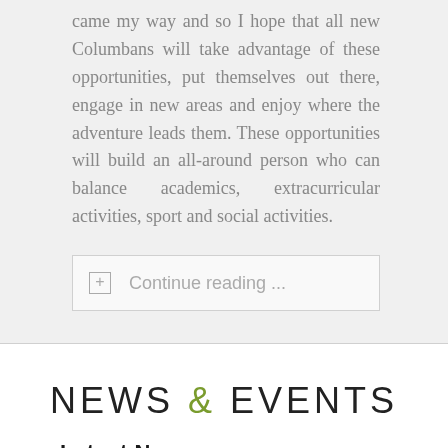came my way and so I hope that all new Columbans will take advantage of these opportunities, put themselves out there, engage in new areas and enjoy where the adventure leads them. These opportunities will build an all-around person who can balance academics, extracurricular activities, sport and social activities.
Continue reading ...
NEWS & EVENTS
Latest News